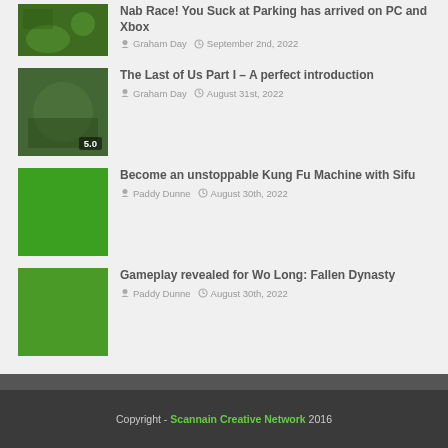[Figure (screenshot): Partial top article thumbnail, green tinted game screenshot]
Nab Race! You Suck at Parking has arrived on PC and Xbox
Graham Day  September 2nd, 2022
[Figure (screenshot): The Last of Us Part I game screenshot thumbnail with 5.0 badge]
The Last of Us Part I – A perfect introduction
Graham Day  August 31st, 2022
[Figure (screenshot): Sifu game screenshot thumbnail, bright green solid color]
Become an unstoppable Kung Fu Machine with Sifu
Paddy Dunne  August 30th, 2022
[Figure (screenshot): Wo Long: Fallen Dynasty game screenshot thumbnail, green color]
Gameplay revealed for Wo Long: Fallen Dynasty
Paddy Dunne  August 30th, 2022
Copyright - Scannain Creative Network 2016